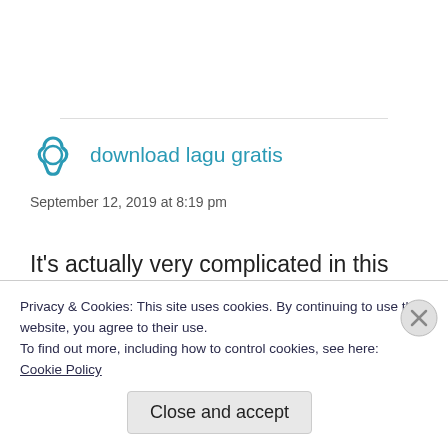download lagu gratis
September 12, 2019 at 8:19 pm
It's actually very complicated in this full of activity life to listen news on Television, therefore I just use the web for that purpose,
Privacy & Cookies: This site uses cookies. By continuing to use this website, you agree to their use.
To find out more, including how to control cookies, see here:
Cookie Policy
Close and accept